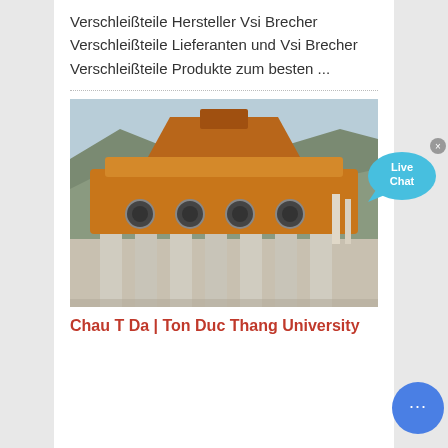Verschleißteile Hersteller Vsi Brecher Verschleißteile Lieferanten und Vsi Brecher Verschleißteile Produkte zum besten ...
[Figure (photo): Outdoor photograph of a large industrial VSI crusher machine with orange metallic body, concrete support columns, and a rocky hillside in the background.]
Chau T Da | Ton Duc Thang University